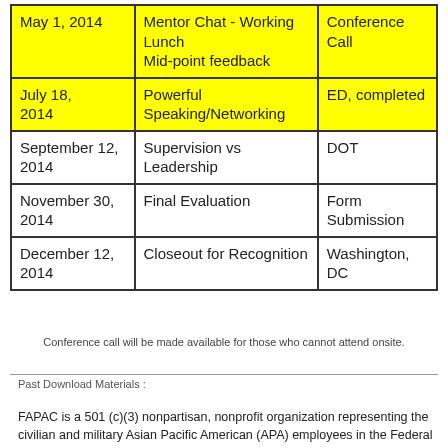| Date | Event | Format/Location |
| --- | --- | --- |
| May 1, 2014 | Mentor Chat - Working Lunch
Mid-point feedback | Conference Call |
| July 18, 2014 | Powerful Speaking/Networking | ED, completed |
| September 12, 2014 | Supervision vs Leadership | DOT |
| November 30, 2014 | Final Evaluation | Form Submission |
| December 12, 2014 | Closeout for Recognition | Washington, DC |
Conference call will be made available for those who cannot attend onsite.
Past Download Materials :
FAPAC is a 501 (c)(3) nonpartisan, nonprofit organization representing the civilian and military Asian Pacific American (APA) employees in the Federal and District of Columbia